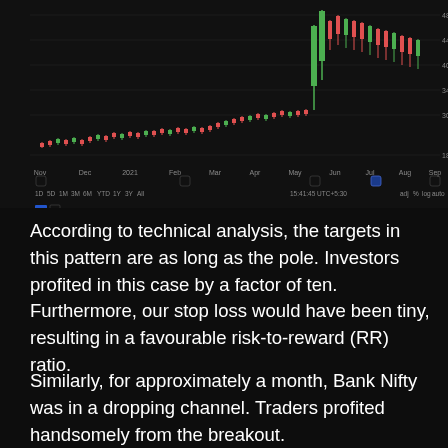[Figure (continuous-plot): Candlestick/line stock chart showing price action over a period from Nov 2020 to Sep 2021, with a dramatic spike upward. Price range approximately 100 to 480. X-axis shows months: Nov, Dec, 2021, Feb, Mar, Apr, May, Jun, Jul, Aug, Sep. Y-axis shows price levels: 480, 440, 400, 340, 300, 180. Timestamp shown: 15:41:45 UTC+5:30. Various time range selectors shown at bottom left.]
According to technical analysis, the targets in this pattern are as long as the pole. Investors profited in this case by a factor of ten. Furthermore, our stop loss would have been tiny, resulting in a favourable risk-to-reward (RR) ratio.
Similarly, for approximately a month, Bank Nifty was in a dropping channel. Traders profited handsomely from the breakout.